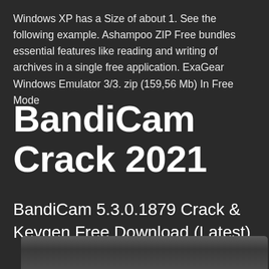Windows XP has a Size of about 1. See the following example. Ashampoo ZIP Free bundles essential features like reading and writing of archives in a single free application. ExaGear Windows Emulator 3/3. zip (159,56 Mb) In Free Mode
BandiCam Crack 2021
BandiCam 5.3.0.1879 Crack & Keygen Free Download (Latest)
[Figure (screenshot): Partial screenshot or banner image appearing at the bottom of the page, showing a dark gray gradient bar]